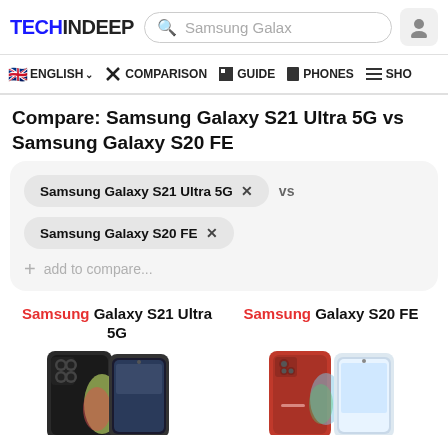TECHINDEEP — Samsung Galax (search bar) — user icon
ENGLISH ∨  ✕ COMPARISON  ■ GUIDE  ■ PHONES  ≡ SHO
Compare: Samsung Galaxy S21 Ultra 5G vs Samsung Galaxy S20 FE
Samsung Galaxy S21 Ultra 5G × vs
Samsung Galaxy S20 FE ×
+ add to compare...
Samsung Galaxy S21 Ultra 5G
Samsung Galaxy S20 FE
[Figure (photo): Samsung Galaxy S21 Ultra 5G phone images (dark gray, front and back)]
[Figure (photo): Samsung Galaxy S20 FE phone images (red/coral, front and back)]